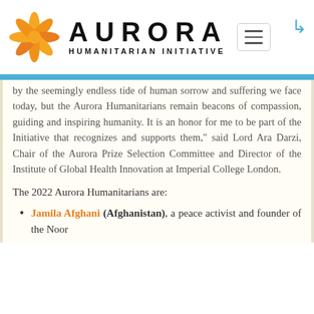[Figure (logo): Aurora Humanitarian Initiative logo with orange flower/pinwheel icon and bold text 'AURORA' with subtitle 'HUMANITARIAN INITIATIVE', plus a hamburger menu button on the right]
by the seemingly endless tide of human sorrow and suffering we face today, but the Aurora Humanitarians remain beacons of compassion, guiding and inspiring humanity. It is an honor for me to be part of the Initiative that recognizes and supports them," said Lord Ara Darzi, Chair of the Aurora Prize Selection Committee and Director of the Institute of Global Health Innovation at Imperial College London.
The 2022 Aurora Humanitarians are:
Jamila Afghani (Afghanistan), a peace activist and founder of the Noor